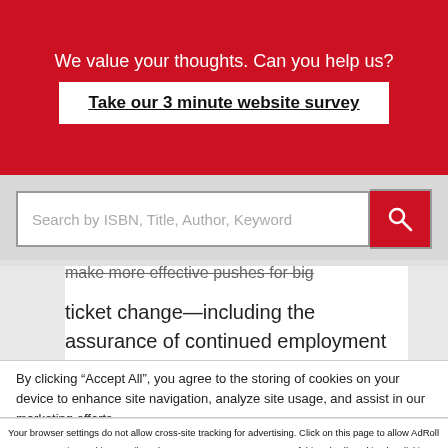We value your thoughts. Can you help us?
Take our 3 minute website survey
Search by ISBN, Title, Author, Keyword
make more effective pushes for big ticket change—including the assurance of continued employment and per-course compensation rates that are equitable to full-time pay.
By clicking “Accept All”, you agree to the storing of cookies on your device to enhance site navigation, analyze site usage, and assist in our marketing efforts.
Accept and Close ×
Your browser settings do not allow cross-site tracking for advertising. Click on this page to allow AdRoll to use cross-site tracking to tailor ads to you. Learn more or opt out of this AdRoll tracking by clicking here. This message only appears once.